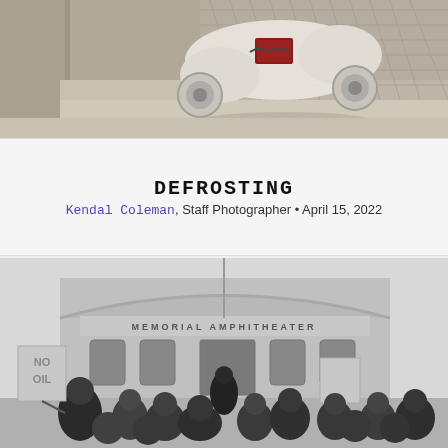[Figure (photo): Color photograph of a white scooter with a chained red book/bible on stone steps, outdoors in sunlight]
DEFROSTING
Kendal Coleman, Staff Photographer • April 15, 2022
[Figure (photo): Black and white photograph of protesters holding signs in front of Memorial Amphitheater building, crowd seen from behind]